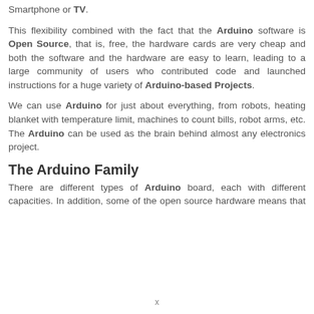Smartphone or TV.
This flexibility combined with the fact that the Arduino software is Open Source, that is, free, the hardware cards are very cheap and both the software and the hardware are easy to learn, leading to a large community of users who contributed code and launched instructions for a huge variety of Arduino-based Projects.
We can use Arduino for just about everything, from robots, heating blanket with temperature limit, machines to count bills, robot arms, etc. The Arduino can be used as the brain behind almost any electronics project.
The Arduino Family
There are different types of Arduino board, each with different capacities. In addition, some of the open source hardware means that others can modify and produce
x